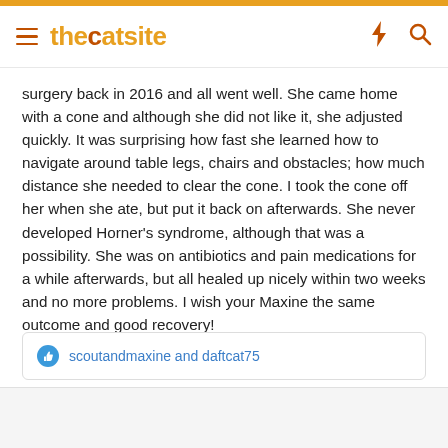thecatsite
surgery back in 2016 and all went well. She came home with a cone and although she did not like it, she adjusted quickly. It was surprising how fast she learned how to navigate around table legs, chairs and obstacles; how much distance she needed to clear the cone. I took the cone off her when she ate, but put it back on afterwards. She never developed Horner's syndrome, although that was a possibility. She was on antibiotics and pain medications for a while afterwards, but all healed up nicely within two weeks and no more problems. I wish your Maxine the same outcome and good recovery!
scoutandmaxine and daftcat75